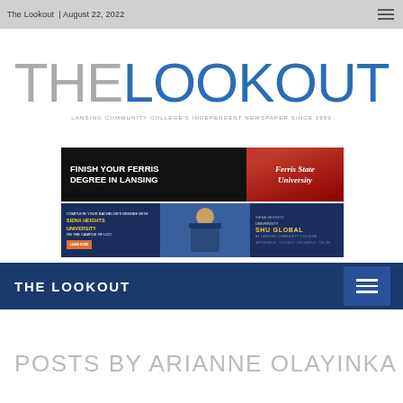The Lookout | August 22, 2022
[Figure (logo): THE LOOKOUT logo — 'THE' in gray, 'LOOKOUT' in blue, with subtitle 'LANSING COMMUNITY COLLEGE'S INDEPENDENT NEWSPAPER SINCE 1959']
[Figure (illustration): Ferris State University advertisement banner: 'FINISH YOUR FERRIS DEGREE IN LANSING' on black background with Ferris State University branding on red background]
[Figure (illustration): Siena Heights University advertisement banner: 'COMPLETE YOUR BACHELOR'S DEGREE with SIENA HEIGHTS UNIVERSITY on the campus of LCC!' with SHU GLOBAL branding]
THE LOOKOUT
POSTS BY ARIANNE OLAYINKA